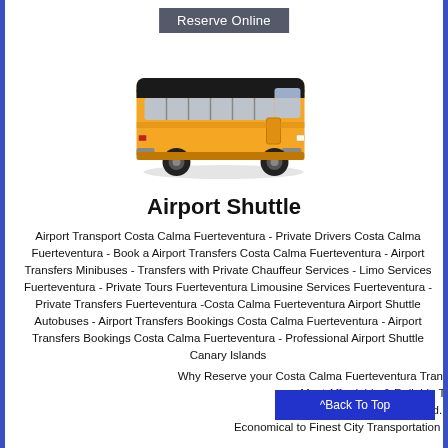Reserve Online
[Figure (illustration): An orange coach/shuttle bus facing left-front angle]
Airport Shuttle
Airport Transport Costa Calma Fuerteventura - Private Drivers Costa Calma Fuerteventura - Book a Airport Transfers Costa Calma Fuerteventura - Airport Transfers Minibuses - Transfers with Private Chauffeur Services - Limo Services Fuerteventura - Private Tours Fuerteventura Limousine Services Fuerteventura - Private Transfers Fuerteventura -Costa Calma Fuerteventura Airport Shuttle Autobuses - Airport Transfers Bookings Costa Calma Fuerteventura - Airport Transfers Bookings Costa Calma Fuerteventura - Professional Airport Shuttle Canary Islands
Why Reserve your Costa Calma Fuerteventura Transfers Airport Transportation with Us?
Most Affordable & Reliable Transportatio
Fuerteventura Canary Island. Best Taxi Ser
Economical to Finest City Transportation Serving all Fuerteventura
^Back To Top